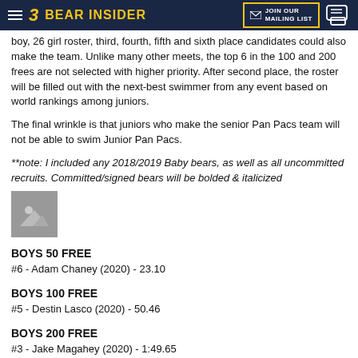BEAR INSIDER — JOIN OUR MAILING LIST
boy, 26 girl roster, third, fourth, fifth and sixth place candidates could also make the team. Unlike many other meets, the top 6 in the 100 and 200 frees are not selected with higher priority. After second place, the roster will be filled out with the next-best swimmer from any event based on world rankings among juniors.
The final wrinkle is that juniors who make the senior Pan Pacs team will not be able to swim Junior Pan Pacs.
**note: I included any 2018/2019 Baby bears, as well as all uncommitted recruits. Committed/signed bears will be bolded & italicized
[Figure (photo): Image placeholder icon showing mountain/landscape symbol]
BOYS 50 FREE
#6 - Adam Chaney (2020) - 23.10
BOYS 100 FREE
#5 - Destin Lasco (2020) - 50.46
BOYS 200 FREE
#3 - Jake Magahey (2020) - 1:49.65
#5 - Destin Lasco (2020) - 1:50.30